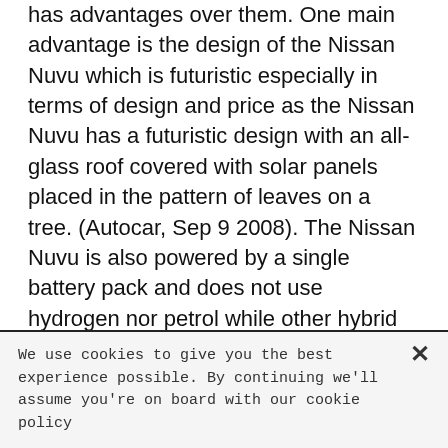has advantages over them. One main advantage is the design of the Nissan Nuvu which is futuristic especially in terms of design and price as the Nissan Nuvu has a futuristic design with an all-glass roof covered with solar panels placed in the pattern of leaves on a tree. (Autocar, Sep 9 2008). The Nissan Nuvu is also powered by a single battery pack and does not use hydrogen nor petrol while other hybrid cars still require petrol or hydrogen to allow them to function. This means that the Nissan Nuvu would not emit any CO2 thus making it very environmentally friendly (Alina S, February 2, 2008).
We use cookies to give you the best experience possible. By continuing we'll assume you're on board with our cookie policy